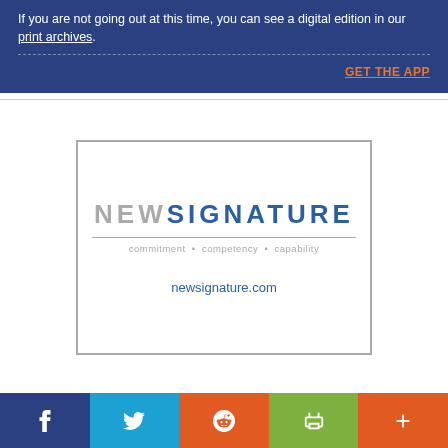If you are not going out at this time, you can see a digital edition in our print archives.
GET THE APP
[Figure (logo): New Signature logo with tagline 'commitment · competency · capability' and URL newsignature.com]
Facebook | Twitter | Reddit | Print | More social sharing